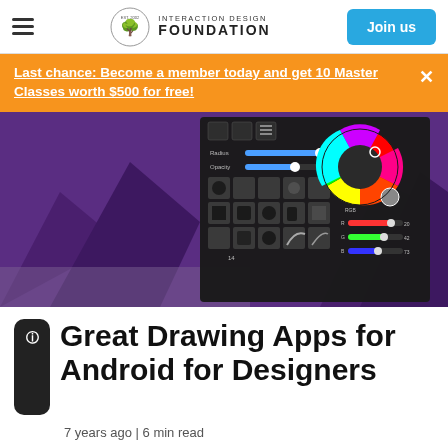Interaction Design Foundation — Join us
Last chance: Become a member today and get 10 Master Classes worth $500 for free!
[Figure (screenshot): Screenshot of a digital drawing app interface showing color picker wheel, brush settings with Radius and Opacity sliders, and a grid of brush type icons, overlaid on a purple mountain landscape background.]
Great Drawing Apps for Android for Designers
7 years ago | 6 min read